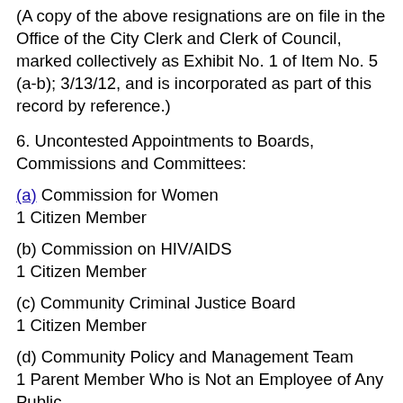(A copy of the above resignations are on file in the Office of the City Clerk and Clerk of Council, marked collectively as Exhibit No. 1 of Item No. 5 (a-b); 3/13/12, and is incorporated as part of this record by reference.)
6. Uncontested Appointments to Boards, Commissions and Committees:
(a) Commission for Women
1 Citizen Member
(b) Commission on HIV/AIDS
1 Citizen Member
(c) Community Criminal Justice Board
1 Citizen Member
(d) Community Policy and Management Team
1 Parent Member Who is Not an Employee of Any Public
or Private Program Which Receives Funds From the Comprehensive Services Act